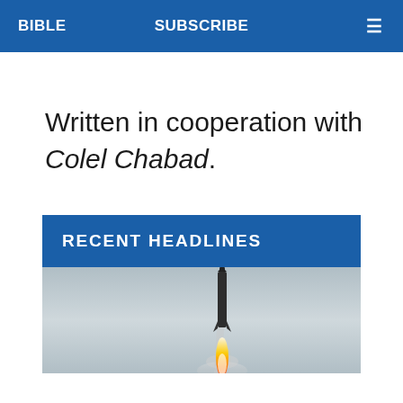BIBLE   SUBSCRIBE   ≡
Written in cooperation with Colel Chabad.
RECENT HEADLINES
[Figure (photo): A rocket launching with a bright flame and smoke trail against a light gray sky.]